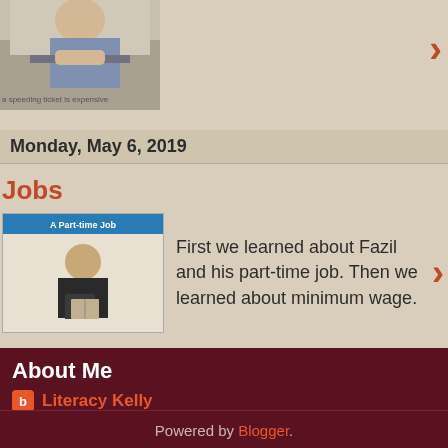[Figure (photo): Person driving a car, partially visible, with caption about speeding ticket]
a speeding ticket is expensive
Monday, May 6, 2019
Jobs
[Figure (photo): A Part-time Job book cover showing a person reading]
First we learned about Fazil and his part-time job. Then we learned about minimum wage.
Home
View web version
About Me
Literacy Kelly
View my complete profile
Powered by Blogger.